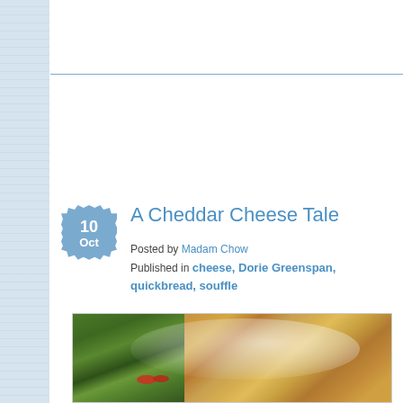A Cheddar Cheese Tale
Posted by Madam Chow
Published in cheese, Dorie Greenspan, quickbread, souffle
[Figure (photo): Photo of a plate with a golden-brown cheese souffle or quickbread and a green salad with tomato slices on a blue and white decorative plate]